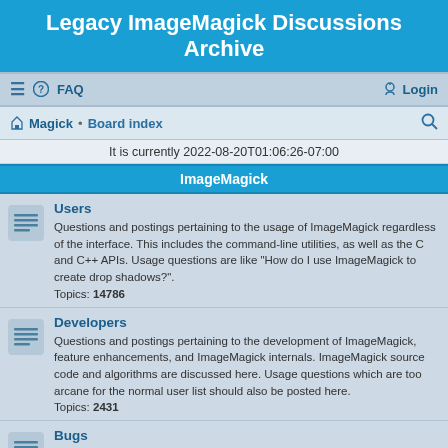Legacy ImageMagick Discussions Archive
≡  FAQ   Login
Magick · Board index
It is currently 2022-08-20T01:06:26-07:00
ImageMagick
Users
Questions and postings pertaining to the usage of ImageMagick regardless of the interface. This includes the command-line utilities, as well as the C and C++ APIs. Usage questions are like "How do I use ImageMagick to create drop shadows?". Topics: 14786
Developers
Questions and postings pertaining to the development of ImageMagick, feature enhancements, and ImageMagick internals. ImageMagick source code and algorithms are discussed here. Usage questions which are too arcane for the normal user list should also be posted here. Topics: 2431
Bugs
Post any defects you find in the released or beta versions of the ImageMagick software here. Include the ImageMagick version, OS, and any command-line required to reproduce the problem. Got a patch for a bug? Post it here. Topics: 4991
Consulting
Do you need consulting from ImageMagick experts and are willing to pay for it?